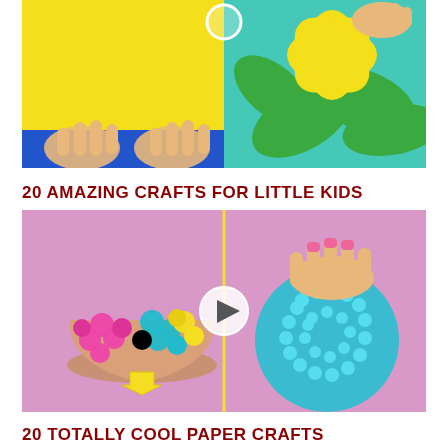[Figure (photo): Split image showing paper craft: left side shows yellow paper on blue background being folded, right side shows yellow paper flower on teal background. A white circle divider appears in the center top.]
20 AMAZING CRAFTS FOR LITTLE KIDS
[Figure (photo): Split image on pink/lavender background showing craft with pom-poms: left side shows a bowl filled with pink, teal, and yellow pom-poms with a yellow arrow pointing up; right side shows a hand pressing down on a large round teal fluffy pom-pom ball. A white play button circle appears in the center.]
20 TOTALLY COOL PAPER CRAFTS